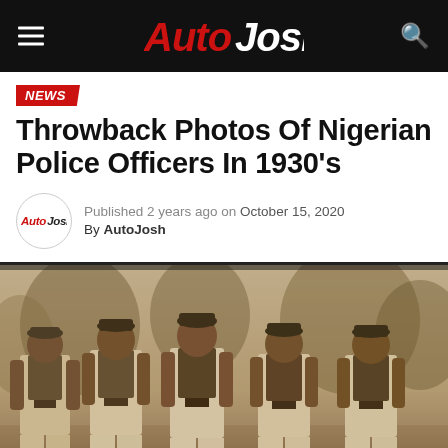AutoJosh
NEWS
Throwback Photos Of Nigerian Police Officers In 1930's
Published 2 years ago on October 15, 2020
By AutoJosh
[Figure (photo): Sepia/black-and-white historical photograph of five Nigerian police officers in 1930s uniforms standing outdoors. They wear pith-style caps, dark vests over white shirts, dark sashes/belts, and light-colored wide trousers. Trees are visible in the background.]